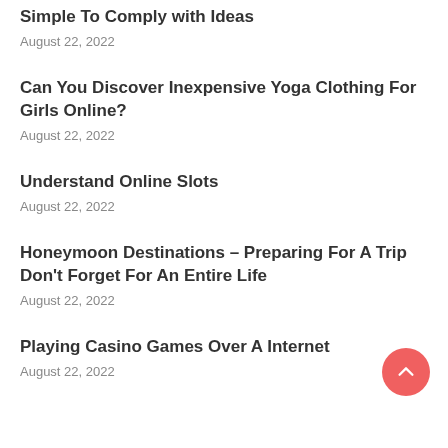Simple To Comply with Ideas
August 22, 2022
Can You Discover Inexpensive Yoga Clothing For Girls Online?
August 22, 2022
Understand Online Slots
August 22, 2022
Honeymoon Destinations – Preparing For A Trip Don't Forget For An Entire Life
August 22, 2022
Playing Casino Games Over A Internet
August 22, 2022